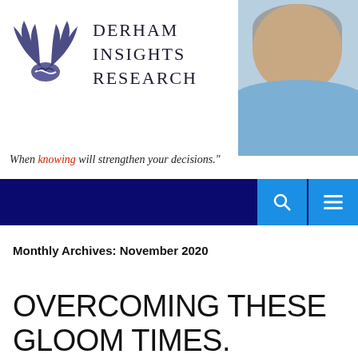[Figure (logo): Derham Insights Research logo with stylized wings and handshake emblem, purple/navy color]
DERHAM INSIGHTS RESEARCH
[Figure (photo): Portrait photo of older man with grey hair, smiling, wearing light blue shirt]
When knowing will strengthen your decisions."
[Figure (infographic): Dark navy navigation bar with blue search and menu icons on the right]
Monthly Archives: November 2020
OVERCOMING THESE GLOOM TIMES.